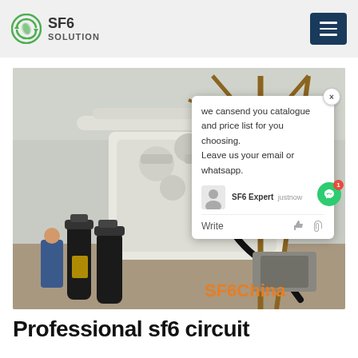SF6 SOLUTION
[Figure (photo): Industrial SF6 gas equipment installation inside a facility showing white valves, pipes, gas cylinders, and metal scaffolding. Watermark text 'SF6China' in orange at bottom right.]
we cansend you catalogue and price list for you choosing. Leave us your email or whatsapp.
SF6 Expert   justnow
Write
Professional sf6 circuit